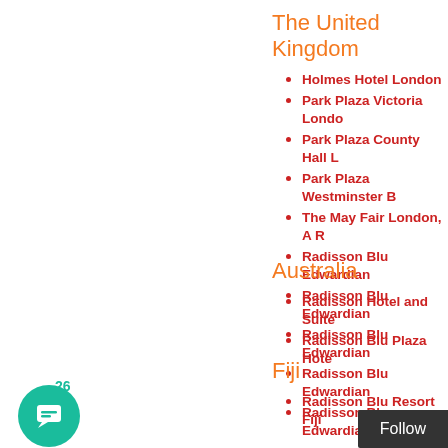The United Kingdom
Holmes Hotel London
Park Plaza Victoria Londo
Park Plaza County Hall L
Park Plaza Westminster B
The May Fair London, A R
Radisson Blu Edwardian
Radisson Blu Edwardian
Radisson Blu Edwardian
Radisson Blu Edwardian
Radisson Blu Edwardian
Australia
Radisson Hotel and Suite
Radisson Blu Plaza Hote
Fiji
Radisson Blu Resort Fiji